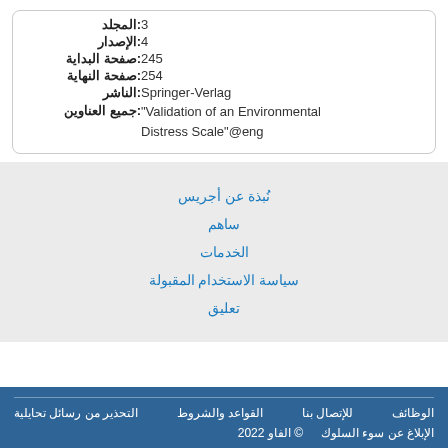| المجلد: | 3 |
| الإصدار: | 4 |
| صفحة البداية: | 245 |
| صفحة النهاية: | 254 |
| الناشر: | Springer-Verlag |
| جميع العناوين: | "Validation of an Environmental Distress Scale"@eng |
نُبذة عن أجريس
ساهم
الخدمات
سياسة الاستخدام المقبولة
تعليق
التحذير من رسائل تحايلية  للإتصال بنا  القواعد والشروط  الوظائف  الإبلاغ عن سوء السلوك  © الفاو 2022